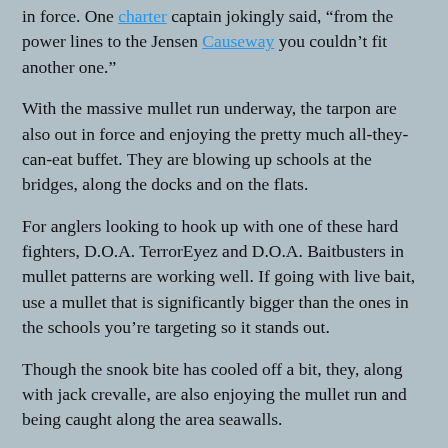in force. One charter captain jokingly said, “from the power lines to the Jensen Causeway you couldn’t fit another one.”
With the massive mullet run underway, the tarpon are also out in force and enjoying the pretty much all-they-can-eat buffet. They are blowing up schools at the bridges, along the docks and on the flats.
For anglers looking to hook up with one of these hard fighters, D.O.A. TerrorEyez and D.O.A. Baitbusters in mullet patterns are working well. If going with live bait, use a mullet that is significantly bigger than the ones in the schools you’re targeting so it stands out.
Though the snook bite has cooled off a bit, they, along with jack crevalle, are also enjoying the mullet run and being caught along the area seawalls.
Along the Stuart and Jensen Causeways, there have been a few black drum caught.